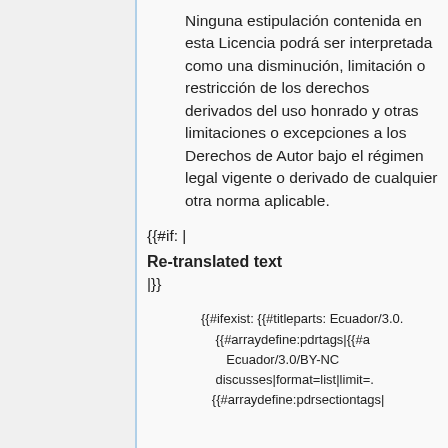Ninguna estipulación contenida en esta Licencia podrá ser interpretada como una disminución, limitación o restricción de los derechos derivados del uso honrado y otras limitaciones o excepciones a los Derechos de Autor bajo el régimen legal vigente o derivado de cualquier otra norma aplicable.
{{#if: |
Re-translated text
|}}
{{#ifexist: {{#titleparts: Ecuador/3.0. {{#arraydefine:pdrtags|{{#a Ecuador/3.0/BY-NC discusses|format=list|limit=. {{#arraydefine:pdrsectiontags|